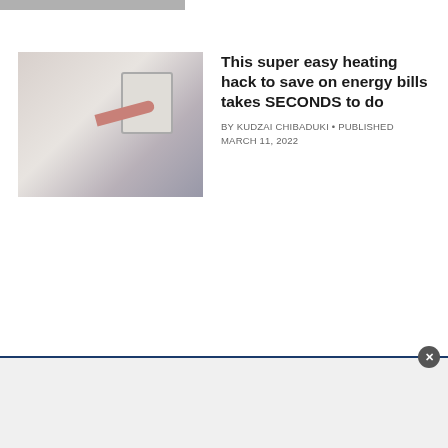[Figure (photo): Partially visible thumbnail image at top of page, cropped]
This super easy heating hack to save on energy bills takes SECONDS to do
BY KUDZAI CHIBADUKI • PUBLISHED MARCH 11, 2022
[Figure (photo): Photo of a young boy (Prince George) in a blue suit, smiling, with a crowd in the background]
Prince George held a secret cake sale for the most heartwarming reason
BY SELINA MAYCOCK • PUBLISHED JUNE 22, 2022